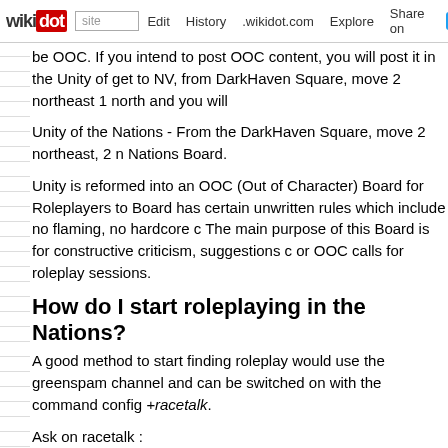wikidot | site | Edit | History | .wikidot.com | Explore | Share on
be OOC. If you intend to post OOC content, you will post it in the Unity of get to NV, from DarkHaven Square, move 2 northeast 1 north and you will
Unity of the Nations - From the DarkHaven Square, move 2 northeast, 2 n Nations Board.
Unity is reformed into an OOC (Out of Character) Board for Roleplayers to Board has certain unwritten rules which include no flaming, no hardcore c The main purpose of this Board is for constructive criticism, suggestions c or OOC calls for roleplay sessions.
How do I start roleplaying in the Nations?
A good method to start finding roleplay would use the greenspam channel and can be switched on with the command config +racetalk.
Ask on racetalk :
1. Whether your nation has a Hometown;
2. Directions to the Hometown.
Do not fret if you get no answer or if someone throws a rather upsetting re silly and dumb. Load your browser and load a Website (some good links o website containing directions to hometowns. Most directions to hometown
In the Hometown would be a noteboard where the Nation Leader and othe of notes. I would suggest reading the board to get a hang of what has bee with your Nation. And contact your nation leader through mudmail if they a
What are Roleplaying Orders?